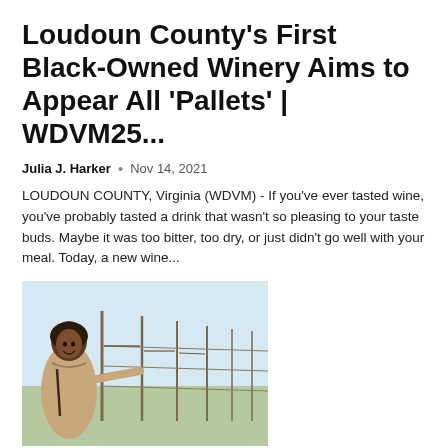Loudoun County's First Black-Owned Winery Aims to Appear All 'Pallets' | WDVM25...
Julia J. Harker  •  Nov 14, 2021
LOUDOUN COUNTY, Virginia (WDVM) - If you've ever tasted wine, you've probably tasted a drink that wasn't so pleasing to your taste buds. Maybe it was too bitter, too dry, or just didn't go well with your meal. Today, a new wine...
[Figure (photo): A woman standing in a vineyard, smiling, wearing a beige coat, with rows of vines and posts visible behind her.]
First Black-Owned Winery in